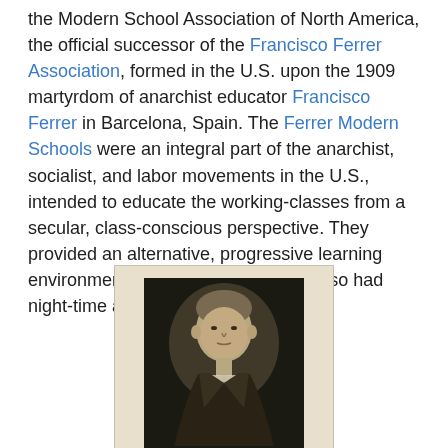the Modern School Association of North America, the official successor of the Francisco Ferrer Association, formed in the U.S. upon the 1909 martyrdom of anarchist educator Francisco Ferrer in Barcelona, Spain. The Ferrer Modern Schools were an integral part of the anarchist, socialist, and labor movements in the U.S., intended to educate the working-classes from a secular, class-conscious perspective. They provided an alternative, progressive learning environment for children, and some also had night-time adult-education programs.
[Figure (photo): A historical pamphlet or program cover featuring a portrait photograph of William Thureston Brown, with text reading 'William Thureston Brown' in an old serif typeface and 'PHILHARMONIC AUDITORIUM' at the bottom.]